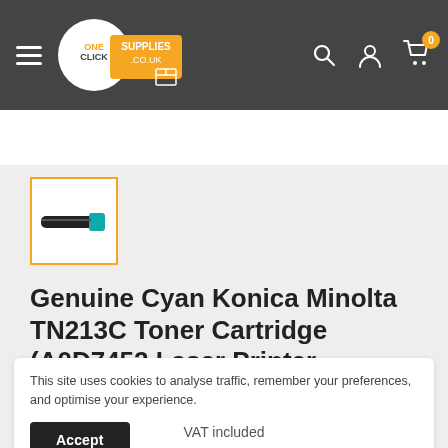One Click Supplies .co.uk — navigation header with search, account, and cart icons
[Figure (photo): Small thumbnail image of a cyan toner cartridge shown at an angle, inside an orange-bordered selection box]
Genuine Cyan Konica Minolta TN213C Toner Cartridge (A0D7452 Laser Printer Cartridge)
This site uses cookies to analyse traffic, remember your preferences, and optimise your experience.
Accept
VAT included